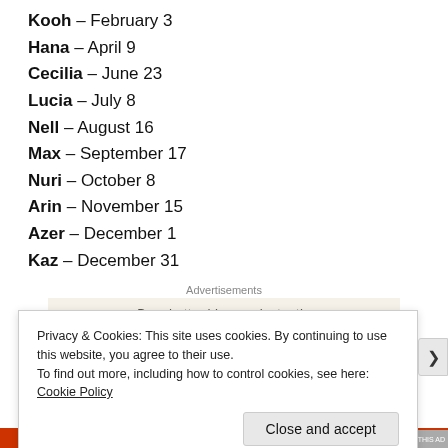Kooh – February 3
Hana – April 9
Cecilia – June 23
Lucia – July 8
Nell – August 16
Max – September 17
Nuri – October 8
Arin – November 15
Azer – December 1
Kaz – December 31
Advertisements
Privacy & Cookies: This site uses cookies. By continuing to use this website, you agree to their use.
To find out more, including how to control cookies, see here: Cookie Policy
Close and accept